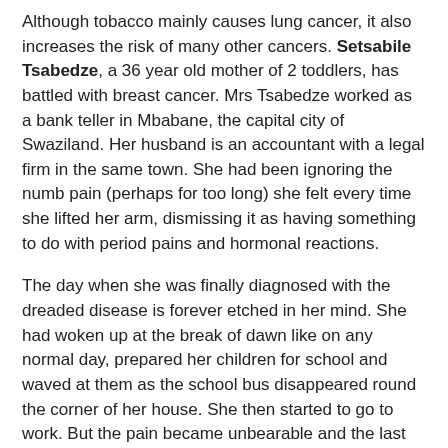Although tobacco mainly causes lung cancer, it also increases the risk of many other cancers. Setsabile Tsabedze, a 36 year old mother of 2 toddlers, has battled with breast cancer. Mrs Tsabedze worked as a bank teller in Mbabane, the capital city of Swaziland. Her husband is an accountant with a legal firm in the same town. She had been ignoring the numb pain (perhaps for too long) she felt every time she lifted her arm, dismissing it as having something to do with period pains and hormonal reactions.
The day when she was finally diagnosed with the dreaded disease is forever etched in her mind. She had woken up at the break of dawn like on any normal day, prepared her children for school and waved at them as the school bus disappeared round the corner of her house. She then started to go to work. But the pain became unbearable and the last thing she remembers was her husband shouting for her to hurry up or he was leaving without her. That mid-morning Mrs Tsabedze woke up in the hospital and a team of doctors and nurses were consulting each other on the way forward for the cancer patient with a bad prognosis. No one had